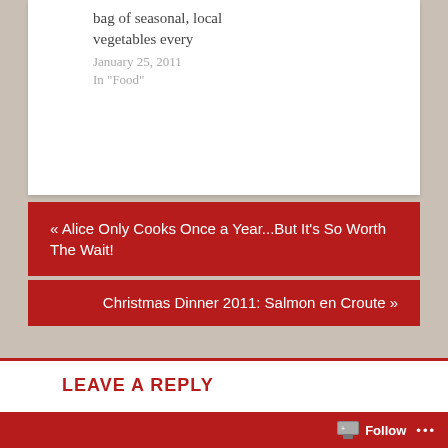bag of seasonal, local vegetables every
January 25, 2011
In "Food"
« Alice Only Cooks Once a Year...But It's So Worth The Wait!
Christmas Dinner 2011: Salmon en Croute »
LEAVE A REPLY
Your email address will not be published. Required fields are marked *
Follow ...